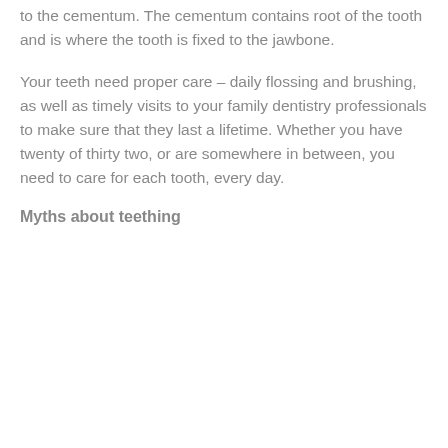to the cementum. The cementum contains root of the tooth and is where the tooth is fixed to the jawbone.
Your teeth need proper care – daily flossing and brushing, as well as timely visits to your family dentistry professionals to make sure that they last a lifetime. Whether you have twenty of thirty two, or are somewhere in between, you need to care for each tooth, every day.
Myths about teething